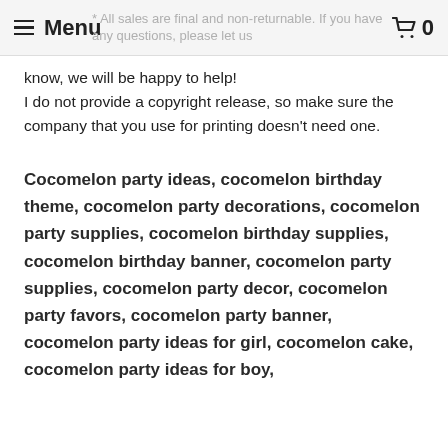≡ Menu   🛒 0
* All sales are final and non-returnable. If you have any questions, please let us know, we will be happy to help!
I do not provide a copyright release, so make sure the company that you use for printing doesn't need one.
Cocomelon party ideas, cocomelon birthday theme, cocomelon party decorations, cocomelon party supplies, cocomelon birthday supplies, cocomelon birthday banner, cocomelon party supplies, cocomelon party decor, cocomelon party favors, cocomelon party banner, cocomelon party ideas for girl, cocomelon cake, cocomelon party ideas for boy,